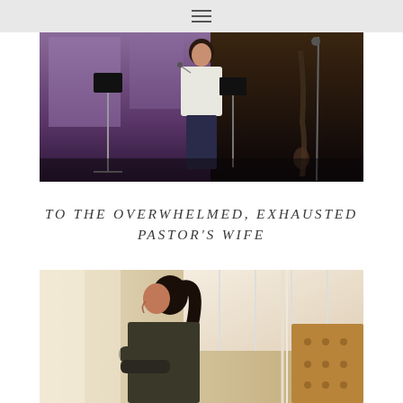☰
[Figure (photo): Woman speaking on stage holding a microphone, standing in front of music stands with stage lighting in shades of purple and brown]
TO THE OVERWHELMED, EXHAUSTED PASTOR'S WIFE
[Figure (photo): Woman with dark hair in a ponytail sitting and looking to the side, wearing a dark jacket, with a light-colored wall and tufted furniture in the background]